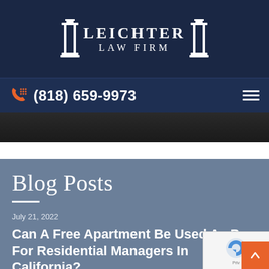LEICHTER LAW FIRM
(818) 659-9973
[Figure (photo): Dark hero image strip showing a partial background photograph]
Blog Posts
July 21, 2022
Can A Free Apartment Be Used As Pay For Residential Managers In California?
The Leichter Law Firm, APC, Los Angeles employment